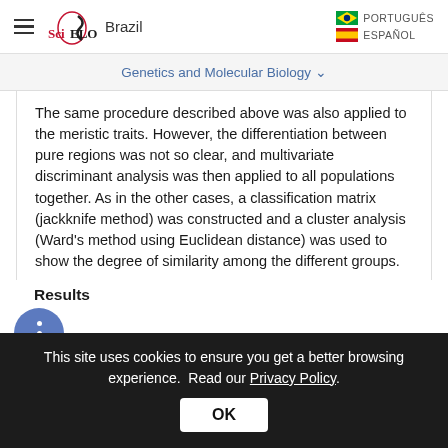SciELO Brazil | PORTUGUÊS | ESPAÑOL
Genetics and Molecular Biology
The same procedure described above was also applied to the meristic traits. However, the differentiation between pure regions was not so clear, and multivariate discriminant analysis was then applied to all populations together. As in the other cases, a classification matrix (jackknife method) was constructed and a cluster analysis (Ward's method using Euclidean distance) was used to show the degree of similarity among the different groups.
Results
This site uses cookies to ensure you get a better browsing experience. Read our Privacy Policy.